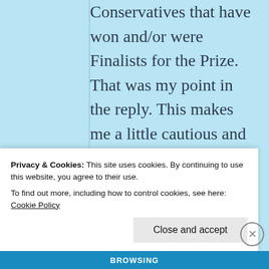Conservatives that have won and/or were Finalists for the Prize. That was my point in the reply. This makes me a little cautious and suspicious now regarding your critical-analysis skills and what YOU
Privacy & Cookies: This site uses cookies. By continuing to use this website, you agree to their use.
To find out more, including how to control cookies, see here: Cookie Policy
Close and accept